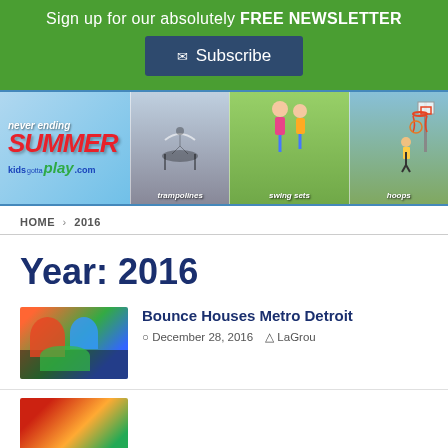Sign up for our absolutely FREE NEWSLETTER
Subscribe
[Figure (photo): Kids Gotta Play banner ad showing 'Never Ending Summer' with trampoline, swing, and basketball hoop product photos]
HOME > 2016
Year: 2016
[Figure (photo): Thumbnail image of colorful bounce house]
Bounce Houses Metro Detroit
December 28, 2016  LaGrou
[Figure (photo): Partial thumbnail of second article]